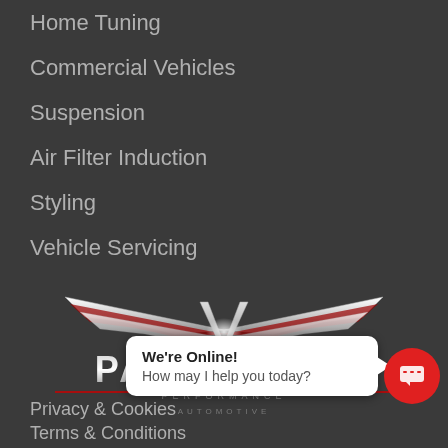Home Tuning
Commercial Vehicles
Suspension
Air Filter Induction
Styling
Vehicle Servicing
[Figure (logo): Paramount Performance Automotive logo with silver wing/V emblem above stylized text PARAMOUNT PERFORMANCE AUTOMOTIVE]
Privacy & Cookies
Terms & Conditions
We're Online! How may I help you today?